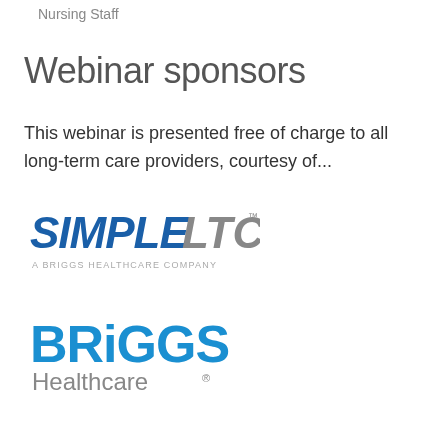Nursing Staff
Webinar sponsors
This webinar is presented free of charge to all long-term care providers, courtesy of...
[Figure (logo): SimpleLTC logo — blue and gray text reading SIMPLELTC with TM mark, subtitle A BRIGGS HEALTHCARE COMPANY]
[Figure (logo): Briggs Healthcare logo — blue bold text BRIGGS with gray text Healthcare and registered mark]